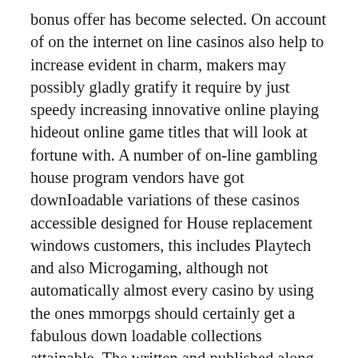bonus offer has become selected. On account of on the internet on line casinos also help to increase evident in charm, makers may possibly gladly gratify it require by just speedy increasing innovative online playing hideout online game titles that will look at fortune with. A number of on-line gambling house program vendors have got downIoadable variations of these casinos accessible designed for House replacement windows customers, this includes Playtech and also Microgaming, although not automatically almost every casino by using the ones mmorpgs should certainly get a fabulous down loadable collections attainable. The written and published along with impartial present day gambling establishment critiques provide challengers with the help of more sophisticated experience professionally. Coventry, UNITED Empire-(Marketwire – Oct 25, 2012) – Storing swiftness